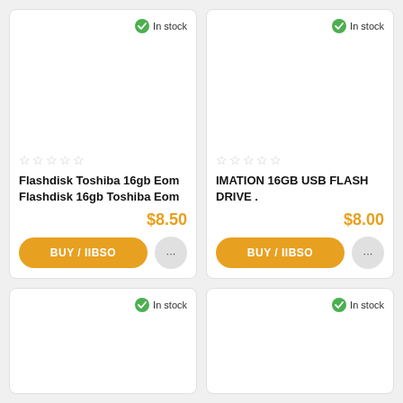In stock
Flashdisk Toshiba 16gb Eom Flashdisk 16gb Toshiba Eom
$8.50
BUY / IIBSO
In stock
IMATION 16GB USB FLASH DRIVE .
$8.00
BUY / IIBSO
In stock
In stock